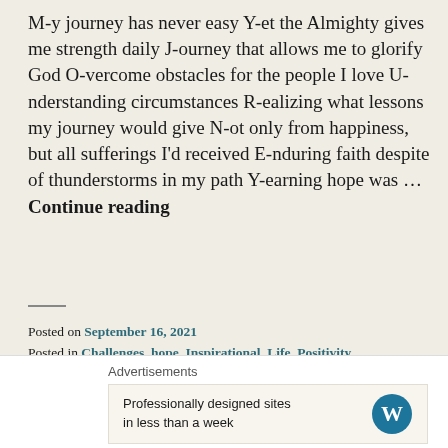M-y journey has never easy Y-et the Almighty gives me strength daily J-ourney that allows me to glorify God O-vercome obstacles for the people I love U-nderstanding circumstances R-ealizing what lessons my journey would give N-ot only from happiness, but all sufferings I'd received E-nduring faith despite of thunderstorms in my path Y-earning hope was … Continue reading
Posted on September 16, 2021
Posted in Challenges, hope, Inspirational, Life, Positivity
Tagged abilities, brand new start, challenges, chance, determination, dreams, fall apart, hope, Inspirational poem, Poems, wisdom.
Leave a comment
Advertisements
Professionally designed sites in less than a week